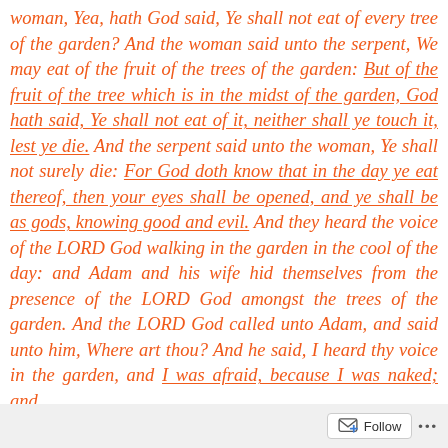woman, Yea, hath God said, Ye shall not eat of every tree of the garden? And the woman said unto the serpent, We may eat of the fruit of the trees of the garden: But of the fruit of the tree which is in the midst of the garden, God hath said, Ye shall not eat of it, neither shall ye touch it, lest ye die. And the serpent said unto the woman, Ye shall not surely die: For God doth know that in the day ye eat thereof, then your eyes shall be opened, and ye shall be as gods, knowing good and evil. And they heard the voice of the LORD God walking in the garden in the cool of the day: and Adam and his wife hid themselves from the presence of the LORD God amongst the trees of the garden. And the LORD God called unto Adam, and said unto him, Where art thou? And he said, I heard thy voice in the garden, and I was afraid, because I was naked; and
Follow ...